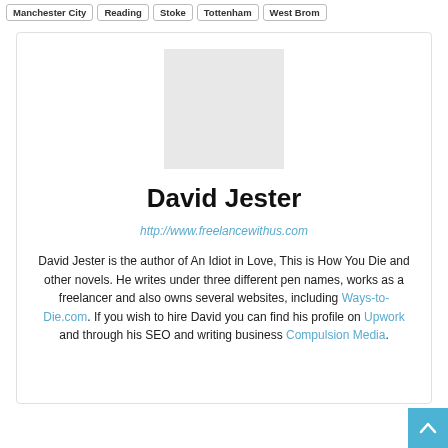Manchester City
Reading
Stoke
Tottenham
West Brom
[Figure (photo): Author avatar placeholder (grey square)]
David Jester
http://www.freelancewithus.com
David Jester is the author of An Idiot in Love, This is How You Die and other novels. He writes under three different pen names, works as a freelancer and also owns several websites, including Ways-to-Die.com. If you wish to hire David you can find his profile on Upwork and through his SEO and writing business Compulsion Media.